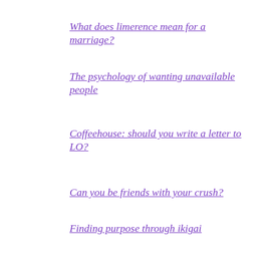What does limerence mean for a marriage?
The psychology of wanting unavailable people
Coffeehouse: should you write a letter to LO?
Can you be friends with your crush?
Finding purpose through ikigai
Chemistry versus compatibility: how to choose a partner
Case study: finding purpose out of limerence